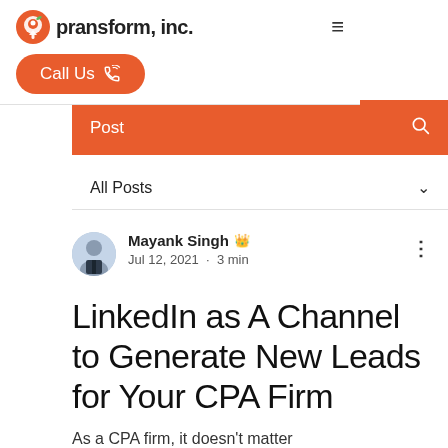pransform, inc.
Call Us
Post
All Posts
Mayank Singh · Jul 12, 2021 · 3 min
LinkedIn as A Channel to Generate New Leads for Your CPA Firm
As a CPA firm, it doesn't matter